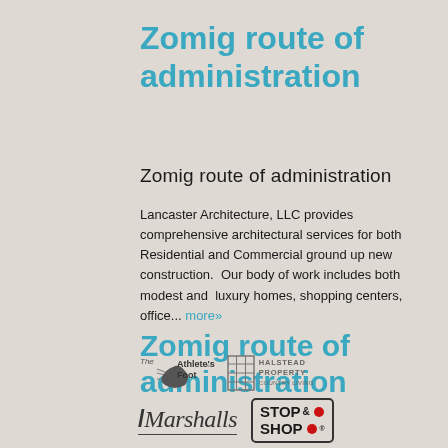Zomig route of administration
Zomig route of administration
Lancaster Architecture, LLC provides comprehensive architectural services for both Residential and Commercial ground up new construction.  Our body of work includes both modest and  luxury homes, shopping centers, office... more»
Zomig route of administration
[Figure (logo): The Athlete's Foot logo with foot/wing icon]
[Figure (logo): Halstead Property Country Living logo with grid building icon]
[Figure (logo): Marshalls italic script logo with underline]
[Figure (logo): Stop & Shop logo with red dots in bordered box]